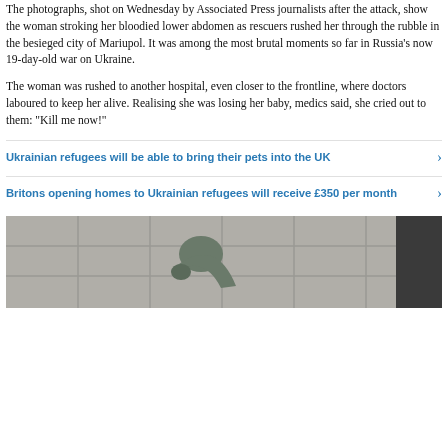The photographs, shot on Wednesday by Associated Press journalists after the attack, show the woman stroking her bloodied lower abdomen as rescuers rushed her through the rubble in the besieged city of Mariupol. It was among the most brutal moments so far in Russia's now 19-day-old war on Ukraine.
The woman was rushed to another hospital, even closer to the frontline, where doctors laboured to keep her alive. Realising she was losing her baby, medics said, she cried out to them: "Kill me now!"
Ukrainian refugees will be able to bring their pets into the UK
Britons opening homes to Ukrainian refugees will receive £350 per month
[Figure (photo): Person leaning over in a tiled room, partially visible at the bottom of the page]